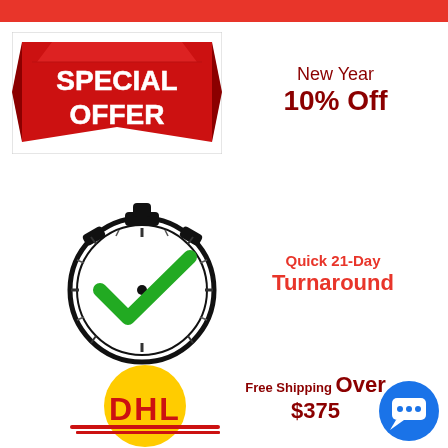[Figure (illustration): Red Special Offer banner with white bold text reading SPECIAL OFFER on a red ribbon/banner graphic]
New Year
10% Off
[Figure (illustration): Stopwatch/timer icon with a green checkmark inside, indicating quick turnaround]
Quick 21-Day Turnaround
[Figure (logo): DHL logo on a yellow circle background with red DHL text]
Free Shipping Over $375
[Figure (illustration): Blue circular chat/messenger bubble icon in bottom right corner]